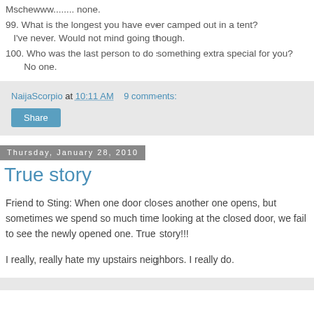Mschewww........ none.
99. What is the longest you have ever camped out in a tent?
    I've never. Would not mind going though.
100. Who was the last person to do something extra special for you?
    No one.
NaijaScorpio at 10:11 AM   9 comments:
Share
Thursday, January 28, 2010
True story
Friend to Sting: When one door closes another one opens, but sometimes we spend so much time looking at the closed door, we fail to see the newly opened one. True story!!!
I really, really hate my upstairs neighbors. I really do.